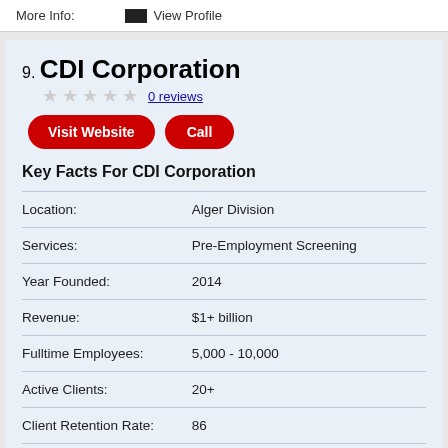More Info:
View Profile
9. CDI Corporation
0 reviews
Visit Website
Call
Key Facts For CDI Corporation
|  |  |
| --- | --- |
| Location: | Alger Division |
| Services: | Pre-Employment Screening |
| Year Founded: | 2014 |
| Revenue: | $1+ billion |
| Fulltime Employees: | 5,000 - 10,000 |
| Active Clients: | 20+ |
| Client Retention Rate: | 86 |
| Pricing: | M… |